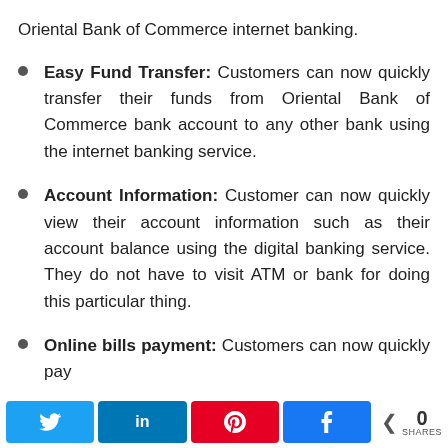Oriental Bank of Commerce internet banking.
Easy Fund Transfer: Customers can now quickly transfer their funds from Oriental Bank of Commerce bank account to any other bank using the internet banking service.
Account Information: Customer can now quickly view their account information such as their account balance using the digital banking service. They do not have to visit ATM or bank for doing this particular thing.
Online bills payment: Customers can now quickly pay